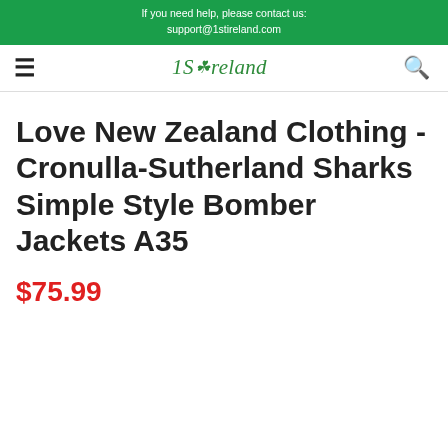If you need help, please contact us: support@1stireland.com
[Figure (logo): 1st Ireland logo with shamrock icon and italic green text]
Love New Zealand Clothing - Cronulla-Sutherland Sharks Simple Style Bomber Jackets A35
$75.99